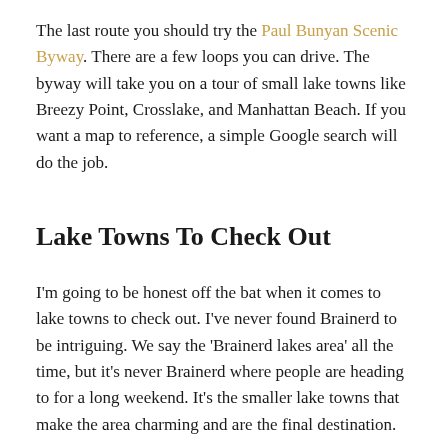The last route you should try the Paul Bunyan Scenic Byway. There are a few loops you can drive. The byway will take you on a tour of small lake towns like Breezy Point, Crosslake, and Manhattan Beach. If you want a map to reference, a simple Google search will do the job.
Lake Towns To Check Out
I'm going to be honest off the bat when it comes to lake towns to check out. I've never found Brainerd to be intriguing. We say the 'Brainerd lakes area' all the time, but it's never Brainerd where people are heading to for a long weekend. It's the smaller lake towns that make the area charming and are the final destination.
Nisswa
First things first: Head to the main street in Nisswa once you get into town. It's a cute area full of different types of